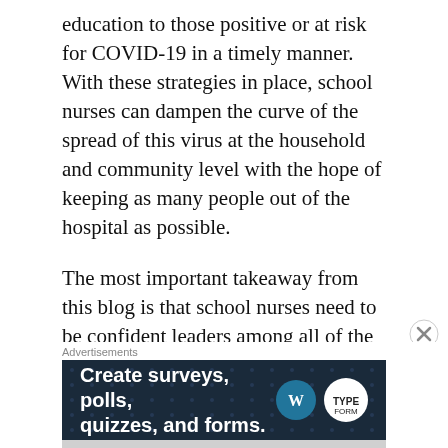education to those positive or at risk for COVID-19 in a timely manner. With these strategies in place, school nurses can dampen the curve of the spread of this virus at the household and community level with the hope of keeping as many people out of the hospital as possible.
The most important takeaway from this blog is that school nurses need to be confident leaders among all of the uncertainty surrounding this COVID-19 pandemic. This requires a game plan:
Step 1: Watch… School Nurse Training for…
Advertisements
[Figure (other): Advertisement banner with dark navy background and dot pattern. Text reads 'Create surveys, polls, quizzes, and forms.' with WordPress and Typeform logos on the right.]